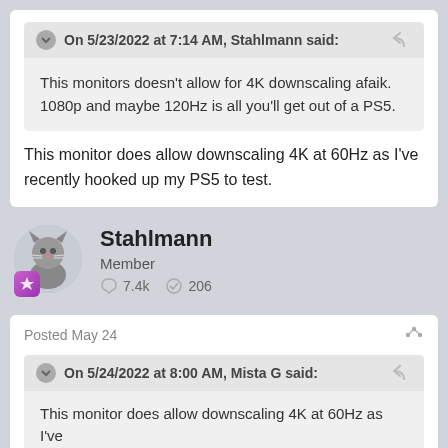On 5/23/2022 at 7:14 AM, Stahlmann said:
This monitors doesn't allow for 4K downscaling afaik. 1080p and maybe 120Hz is all you'll get out of a PS5.
This monitor does allow downscaling 4K at 60Hz as I've recently hooked up my PS5 to test.
Stahlmann
Member
7.4k  206
Posted May 24
On 5/24/2022 at 8:00 AM, Mista G said:
This monitor does allow downscaling 4K at 60Hz as I've